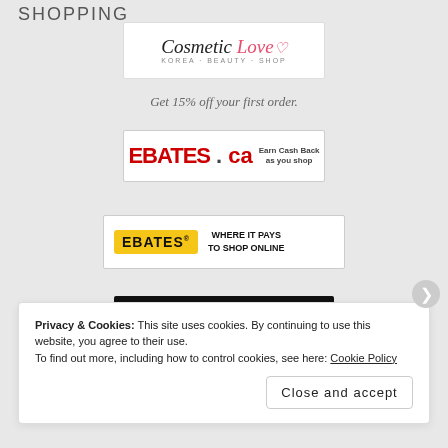SHOPPING
[Figure (logo): Cosmetic Love Korea Beauty Shop logo — cursive black and pink text on white background]
Get 15% off your first order.
[Figure (logo): Ebates.ca Earn Cash Back as you shop logo on white background]
[Figure (logo): Ebates WHERE IT PAYS TO SHOP ONLINE logo — yellow badge with black text on white background]
[Figure (logo): FragranceBuy logo — white and red italic text on black background]
Get $5 off your first order.
Privacy & Cookies: This site uses cookies. By continuing to use this website, you agree to their use.
To find out more, including how to control cookies, see here: Cookie Policy
Close and accept